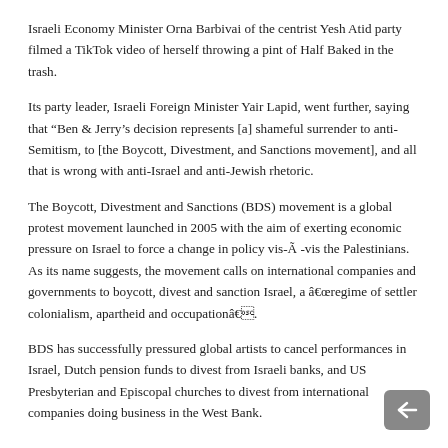Israeli Economy Minister Orna Barbivai of the centrist Yesh Atid party filmed a TikTok video of herself throwing a pint of Half Baked in the trash.
Its party leader, Israeli Foreign Minister Yair Lapid, went further, saying that “Ben & Jerry’s decision represents [a] shameful surrender to anti-Semitism, to [the Boycott, Divestment, and Sanctions movement], and all that is wrong with anti-Israel and anti-Jewish rhetoric.
The Boycott, Divestment and Sanctions (BDS) movement is a global protest movement launched in 2005 with the aim of exerting economic pressure on Israel to force a change in policy vis-Ã -vis the Palestinians. As its name suggests, the movement calls on international companies and governments to boycott, divest and sanction Israel, a â€œregime of settler colonialism, apartheid and occupationâ€.
BDS has successfully pressured global artists to cancel performances in Israel, Dutch pension funds to divest from Israeli banks, and US Presbyterian and Episcopal churches to divest from international companies doing business in the West Bank.